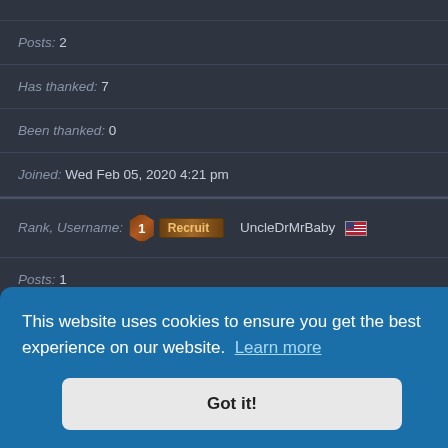Posts: 2
Has thanked: 7
Been thanked: 0
Joined: Wed Feb 05, 2020 4:21 pm
Rank, Username: [1] Recruit  UncleDrMrBaby [US flag]
Posts: 1
Has thanked: 1
This website uses cookies to ensure you get the best experience on our website. Learn more
Got it!
Posts: 986